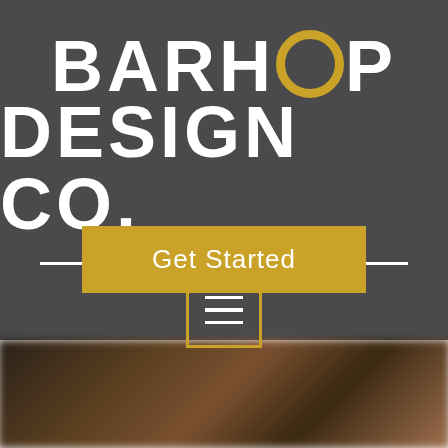[Figure (logo): Barhop Design Co. logo — white bold sans-serif text on dark gray background. 'BARHOP' on first line with the O replaced by a gold ring/circle. 'DESIGN CO.' on second line. '— QUINCY IL. —' on third line with horizontal rules on either side.]
Get Started
[Figure (other): Hamburger menu icon — three white horizontal bars inside a gold square border outline]